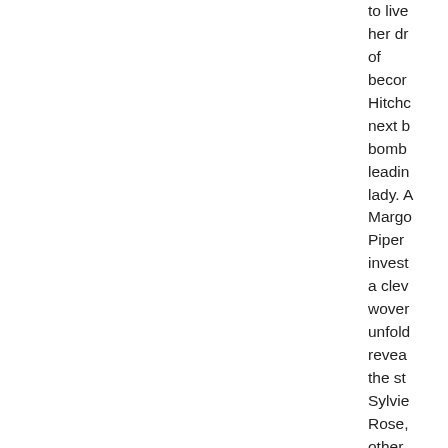to live her dr of becom Hitchc next b bomb leadin lady. A Margo Piper invest a clev wove unfol revea the st Sylvie Rose, other sisters lived a motel